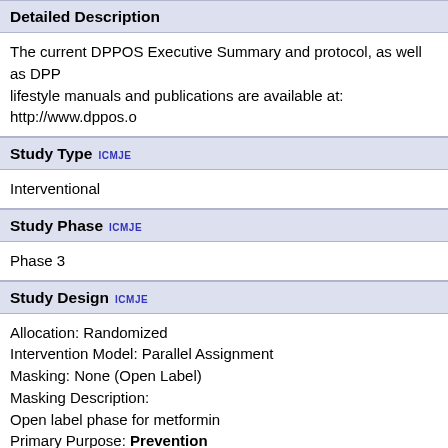Detailed Description
The current DPPOS Executive Summary and protocol, as well as DPP lifestyle manuals and publications are available at: http://www.dppos.o
Study Type ICMJE
Interventional
Study Phase ICMJE
Phase 3
Study Design ICMJE
Allocation: Randomized
Intervention Model: Parallel Assignment
Masking: None (Open Label)
Masking Description:
    Open label phase for metformin
Primary Purpose: Prevention
Condition ICMJE